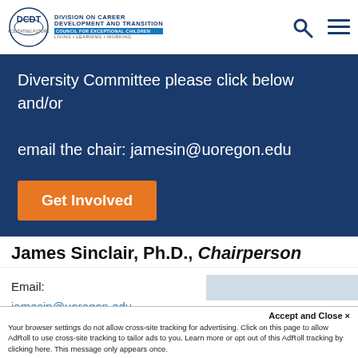DCDT — Division on Career Development and Transition, Council for Exceptional Children, Living • Learning • Working
Diversity Committee please click below and/or email the chair: jamesin@uoregon.edu
Get Involved
James Sinclair, Ph.D., Chairperson
Email:
jamesin@uoregon.edu
James Sinclair, Ph.D. is a
[Figure (photo): Headshot photo of James Sinclair, a man with short blond hair wearing a black vest over a light blue shirt, smiling, with a light grey background.]
Accept and Close ✕
Your browser settings do not allow cross-site tracking for advertising. Click on this page to allow AdRoll to use cross-site tracking to tailor ads to you. Learn more or opt out of this AdRoll tracking by clicking here. This message only appears once.